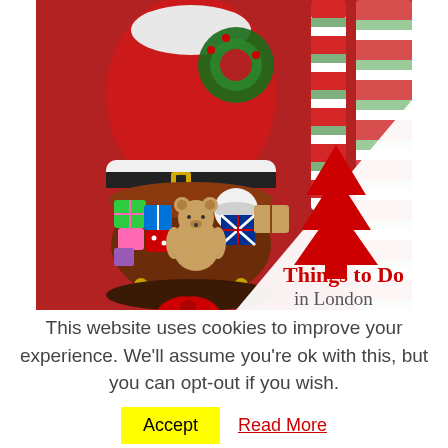[Figure (photo): A large Santa Claus statue/figure in red suit with white trim, holding a wreath, with a basket of colorful gifts and a teddy bear at the base. In the background are red and white candy cane striped poles on a red background. A white triangle overlay in the bottom right corner contains a red Christmas tree icon and the text 'Things to Do in London'.]
This website uses cookies to improve your experience. We'll assume you're ok with this, but you can opt-out if you wish.
Accept
Read More